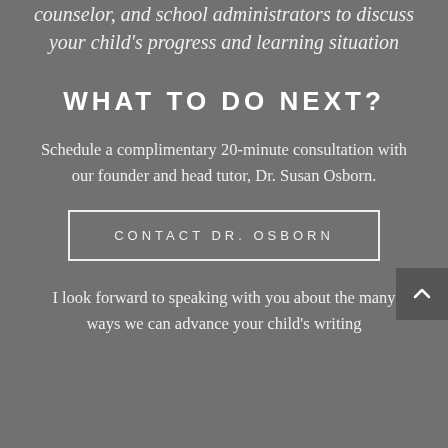counselor, and school administrators to discuss your child's progress and learning situation
WHAT TO DO NEXT?
Schedule a complimentary 20-minute consultation with our founder and head tutor, Dr. Susan Osborn.
CONTACT DR. OSBORN
I look forward to speaking with you about the many ways we can advance your child's writing